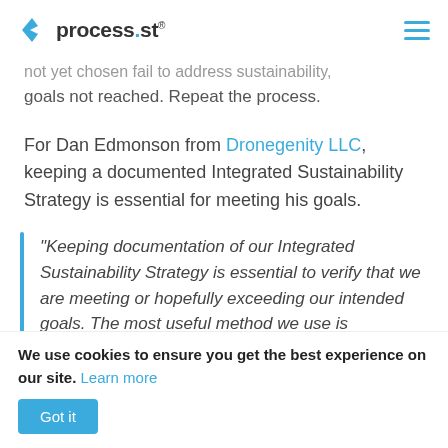process.st
not yet chosen fail to address sustainability, goals not reached. Repeat the process.
For Dan Edmonson from Dronegenity LLC, keeping a documented Integrated Sustainability Strategy is essential for meeting his goals.
“Keeping documentation of our Integrated Sustainability Strategy is essential to verify that we are meeting or hopefully exceeding our intended goals. The most useful method we use is
We use cookies to ensure you get the best experience on our site. Learn more